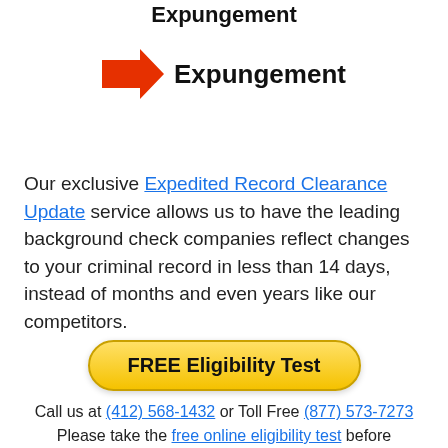Expungement
[Figure (illustration): Red right-pointing arrow icon next to bold text 'Expungement']
Our exclusive Expedited Record Clearance Update service allows us to have the leading background check companies reflect changes to your criminal record in less than 14 days, instead of months and even years like our competitors.
FREE Eligibility Test (button)
Call us at (412) 568-1432 or Toll Free (877) 573-7273 Please take the free online eligibility test before